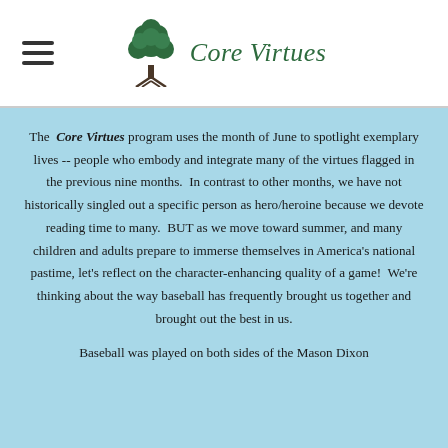Core Virtues
The Core Virtues program uses the month of June to spotlight exemplary lives -- people who embody and integrate many of the virtues flagged in the previous nine months. In contrast to other months, we have not historically singled out a specific person as hero/heroine because we devote reading time to many. BUT as we move toward summer, and many children and adults prepare to immerse themselves in America's national pastime, let's reflect on the character-enhancing quality of a game! We're thinking about the way baseball has frequently brought us together and brought out the best in us.
Baseball was played on both sides of the Mason Dixon